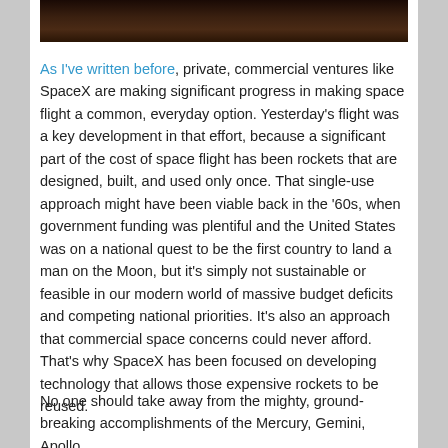[Figure (photo): Dark photograph, likely showing a rocket or space-related scene with warm amber/dark tones]
As I've written before, private, commercial ventures like SpaceX are making significant progress in making space flight a common, everyday option.  Yesterday's flight was a key development in that effort, because a significant part of the cost of space flight has been rockets that are designed, built, and used only once.  That single-use approach might have been viable back in the '60s, when government funding was plentiful and the United States was on a national quest to be the first country to land a man on the Moon, but it's simply not sustainable or feasible in our modern world of massive budget deficits and competing national priorities.  It's also an approach that commercial space concerns could never afford.  That's why SpaceX has been focused on developing technology that allows those expensive rockets to be reused.
No one should take away from the mighty, ground-breaking accomplishments of the Mercury, Gemini, Apollo,